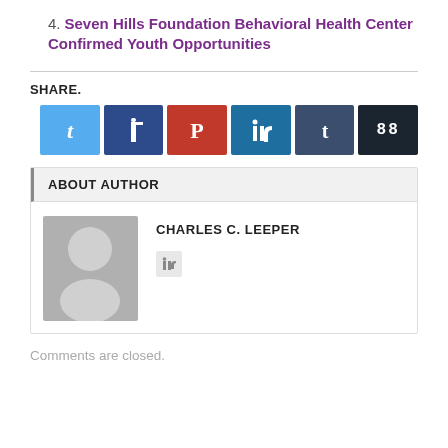4. Seven Hills Foundation Behavioral Health Center Confirmed Youth Opportunities
SHARE.
[Figure (other): Row of six social sharing buttons: Twitter (light blue), Facebook (dark blue), Pinterest (red), LinkedIn (teal blue), Tumblr (dark slate), and a counter button (near black) showing 88]
ABOUT AUTHOR
CHARLES C. LEEPER
Comments are closed.